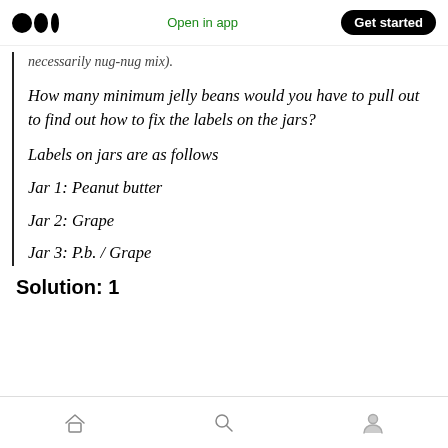Medium app navigation bar with logo, Open in app, Get started
necessarily nug-nug mix).
How many minimum jelly beans would you have to pull out to find out how to fix the labels on the jars?
Labels on jars are as follows
Jar 1: Peanut butter
Jar 2: Grape
Jar 3: P.b. / Grape
Solution: 1
Bottom navigation bar with home, search, and profile icons